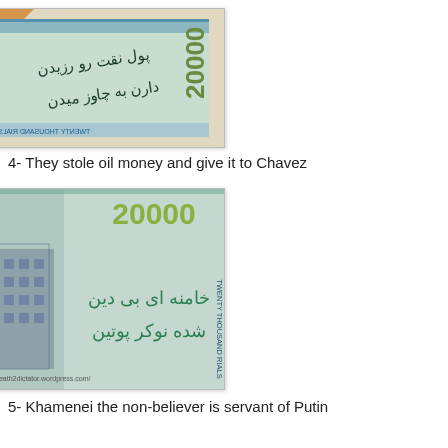[Figure (photo): Photo of an Iranian 20000 Rial banknote with Persian handwritten graffiti text written on it, upside down, showing the text 'TWENTY THOUSAND RIALS' on the lower edge.]
4- They stole oil money and give it to Chavez
[Figure (photo): Photo of an Iranian 20000 Rial banknote with green Persian graffiti text written on it reading 'Khamenei the non-believer is servant of Putin', showing a building illustration and '20000' denomination. URL: http://death2dictator.wordpress.com/]
5- Khamenei the non-believer is servant of Putin